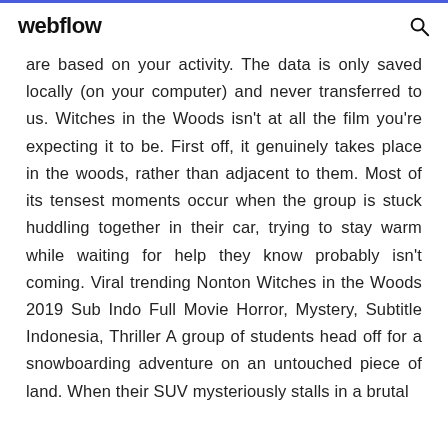webflow
are based on your activity. The data is only saved locally (on your computer) and never transferred to us. Witches in the Woods isn't at all the film you're expecting it to be. First off, it genuinely takes place in the woods, rather than adjacent to them. Most of its tensest moments occur when the group is stuck huddling together in their car, trying to stay warm while waiting for help they know probably isn't coming. Viral trending Nonton Witches in the Woods 2019 Sub Indo Full Movie Horror, Mystery, Subtitle Indonesia, Thriller A group of students head off for a snowboarding adventure on an untouched piece of land. When their SUV mysteriously stalls in a brutal